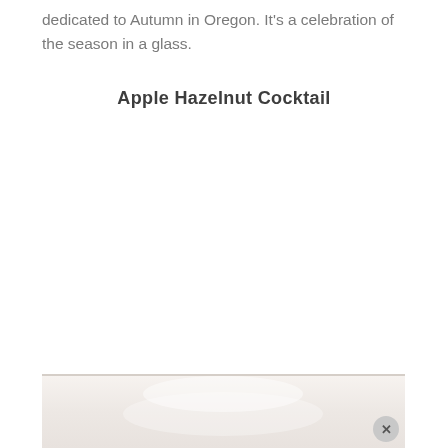dedicated to Autumn in Oregon. It's a celebration of the season in a glass.
Apple Hazelnut Cocktail
[Figure (photo): Partial photo of a cocktail or drink, light colored background, bottom of page, with a close/dismiss button (X) in the bottom right corner]